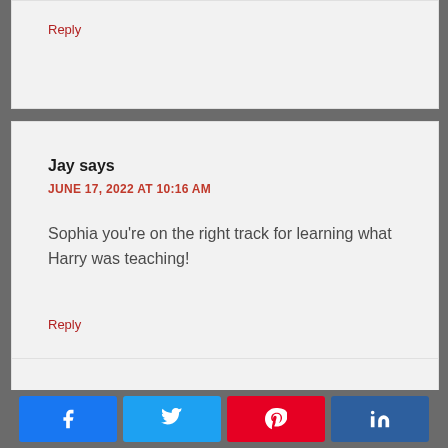Reply
Jay says
JUNE 17, 2022 AT 10:16 AM

Sophia you're on the right track for learning what Harry was teaching!
Reply
Suzanne Crow says